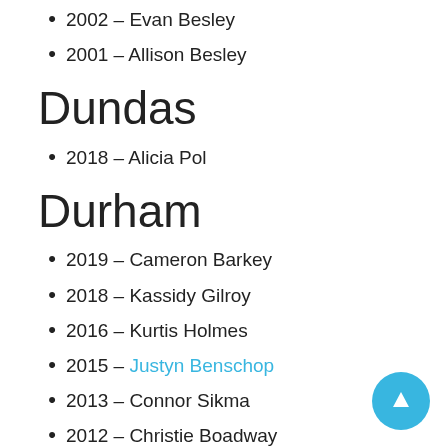2002 – Evan Besley
2001 – Allison Besley
Dundas
2018 – Alicia Pol
Durham
2019 – Cameron Barkey
2018 – Kassidy Gilroy
2016 – Kurtis Holmes
2015 – Justyn Benschop
2013 – Connor Sikma
2012 – Christie Boadway
2011 – Emily Linton
2010 – Daniel Sargent
2009 – Stephanie Taylor
2008 – Steven Larmer
2007 – Stephynie Sargent